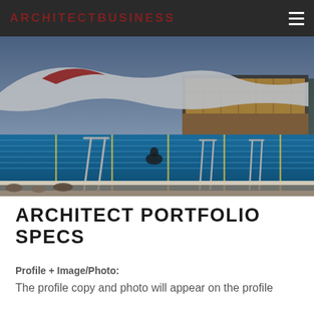ARCHITECTBUSINESS
[Figure (photo): Exterior photograph of a modern aquatic facility at dusk, showing an outdoor swimming pool with lane ropes, metal handrails, a curvilinear silver metallic roof structure, and a multi-story glass and brick building in the background illuminated with warm lights.]
ARCHITECT PORTFOLIO SPECS
Profile + Image/Photo:
The profile copy and photo will appear on the profile